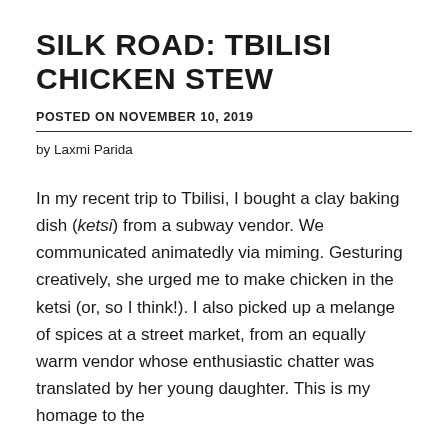SILK ROAD: TBILISI CHICKEN STEW
POSTED ON NOVEMBER 10, 2019
by Laxmi Parida
In my recent trip to Tbilisi, I bought a clay baking dish (ketsi) from a subway vendor. We communicated animatedly via miming. Gesturing creatively, she urged me to make chicken in the ketsi (or, so I think!). I also picked up a melange of spices at a street market, from an equally warm vendor whose enthusiastic chatter was translated by her young daughter. This is my homage to the